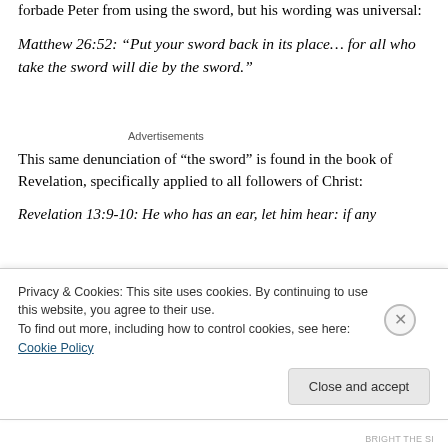forbade Peter from using the sword, but his wording was universal:
Matthew 26:52: “Put your sword back in its place… for all who take the sword will die by the sword.”
Advertisements
This same denunciation of “the sword” is found in the book of Revelation, specifically applied to all followers of Christ:
Revelation 13:9-10: He who has an ear, let him hear: if any
Privacy & Cookies: This site uses cookies. By continuing to use this website, you agree to their use.
To find out more, including how to control cookies, see here: Cookie Policy
Close and accept